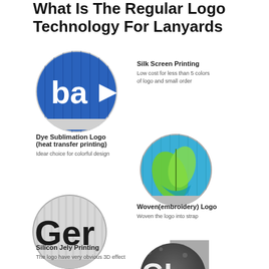What Is The Regular Logo Technology For Lanyards
[Figure (photo): Close-up circular image of a blue lanyard with 'ba' logo in white, showing silk screen printing]
Silk Screen Printing
Low cost for less than 5 colors of logo and small order
[Figure (photo): Close-up circular image of a blue lanyard with a colorful leaf/plant logo, showing dye sublimation printing]
Dye Sublimation Logo (heat transfer printing)
Idear choice for colorful design
[Figure (photo): Close-up circular image of a grey lanyard with 'Ger' text in dark embroidery, showing woven logo]
Woven(embroidery) Logo
Woven the logo into strap
[Figure (photo): Close-up circular image of a black lanyard with 'GL TECH' logo in 3D silicon jely printing]
Silicon Jely Printing
The logo have very obvious 3D effect